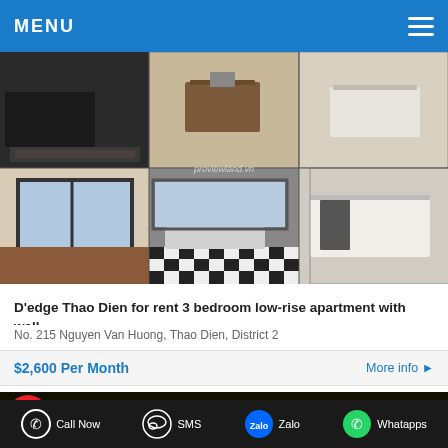MENU
[Figure (photo): 6-panel photo grid of apartment interior: kitchen counters, kitchen islands, open rooms with large windows, bathroom with checkered floor, modern kitchen]
D'edge Thao Dien for rent 3 bedroom low-rise apartment with wall-...
No. 215 Nguyen Van Huong, Thao Dien, District 2
$2,600 Per Month
More info
HOT  PROPERTIES FOR SALE
Call Now   SMS   Zalo   Whatapps